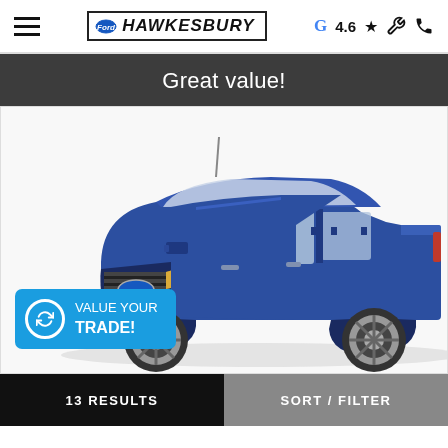Hawkesbury Ford — G 4.6★
Great value!
[Figure (photo): Blue Ford F-150 pickup truck shown from a front three-quarter angle on a white background. A teal 'VALUE YOUR TRADE!' button overlay appears in the lower-left of the image.]
13 RESULTS    SORT / FILTER